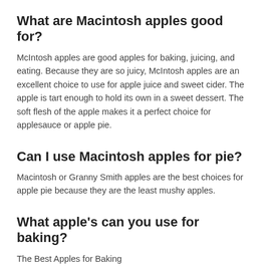What are Macintosh apples good for?
McIntosh apples are good apples for baking, juicing, and eating. Because they are so juicy, McIntosh apples are an excellent choice to use for apple juice and sweet cider. The apple is tart enough to hold its own in a sweet dessert. The soft flesh of the apple makes it a perfect choice for applesauce or apple pie.
Can I use Macintosh apples for pie?
Macintosh or Granny Smith apples are the best choices for apple pie because they are the least mushy apples.
What apple's can you use for baking?
The Best Apples for Baking
Jonagold. Tart with a honeyed sweetness, Jonagolds hold up exceptionally well in the oven.